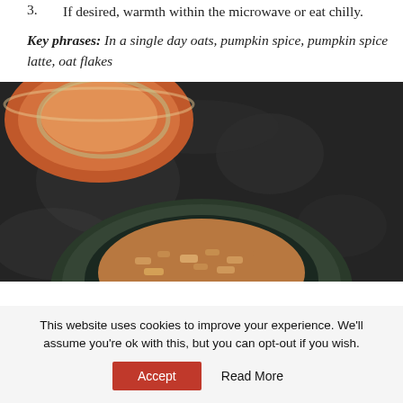3. If desired, warmth within the microwave or eat chilly.
Key phrases: In a single day oats, pumpkin spice, pumpkin spice latte, oat flakes
[Figure (photo): Two bowls of oatmeal with pumpkin spice on a dark stone surface. An orange bowl visible at top, a dark bowl with granola/oat toppings at bottom.]
This website uses cookies to improve your experience. We'll assume you're ok with this, but you can opt-out if you wish.